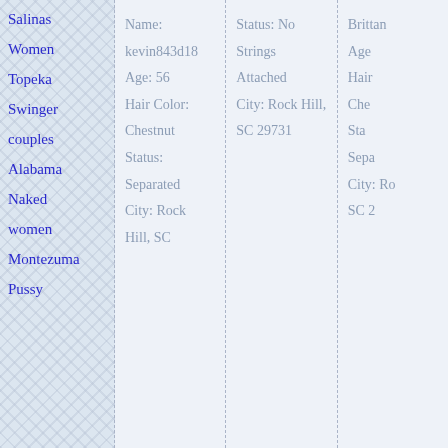Salinas
Women
Topeka
Swinger
couples
Alabama
Naked
women
Montezuma
Pussy
Name:
kevin843d18
Age: 56
Hair Color:
Chestnut
Status:
Separated
City: Rock Hill, SC
Status: No Strings Attached
City: Rock Hill, SC 29731
Brittan
Age
Hair
Che
Sta
Sepa
City: Ro
SC 2